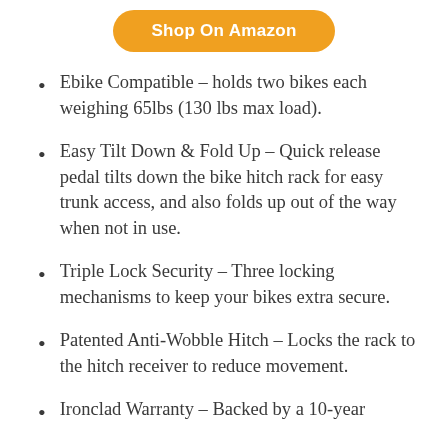[Figure (other): Shop On Amazon button (orange rounded rectangle with white bold text)]
Ebike Compatible – holds two bikes each weighing 65lbs (130 lbs max load).
Easy Tilt Down & Fold Up – Quick release pedal tilts down the bike hitch rack for easy trunk access, and also folds up out of the way when not in use.
Triple Lock Security – Three locking mechanisms to keep your bikes extra secure.
Patented Anti-Wobble Hitch – Locks the rack to the hitch receiver to reduce movement.
Ironclad Warranty – Backed by a 10-year